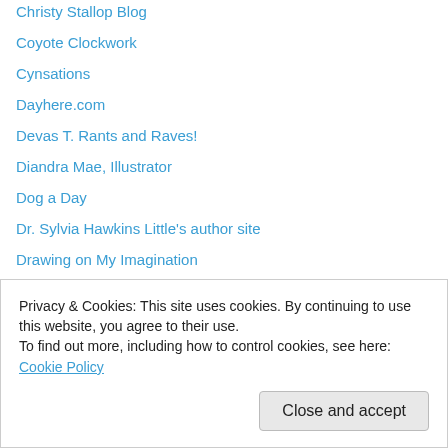Christy Stallop Blog
Coyote Clockwork
Cynsations
Dayhere.com
Devas T. Rants and Raves!
Diandra Mae, Illustrator
Dog a Day
Dr. Sylvia Hawkins Little's author site
Drawing on My Imagination
Dreams & Visions – the work of Susan Sorrell Hill
Dreams and Visions
ePainting Instruction
Faerie Sunrise
Faerie Sunrise
Illustration and Art by Sylvia Liu
Privacy & Cookies: This site uses cookies. By continuing to use this website, you agree to their use. To find out more, including how to control cookies, see here: Cookie Policy
Close and accept